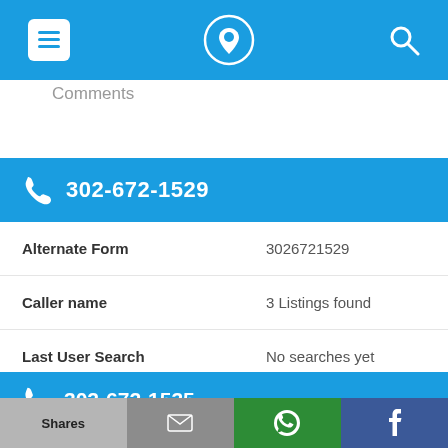Navigation bar with menu, phone/location icon, and search icon
Comments
302-672-1529
| Field | Value |
| --- | --- |
| Alternate Form | 3026721529 |
| Caller name | 3 Listings found |
| Last User Search | No searches yet |
| Comments |  |
302-672-1535
Shares | Email | WhatsApp | Facebook